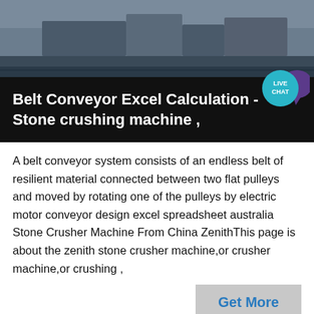[Figure (photo): Outdoor industrial/construction site photo, rooftop or elevated area with machinery and structures, muted blue-grey tones]
Belt Conveyor Excel Calculation - Stone crushing machine ,
A belt conveyor system consists of an endless belt of resilient material connected between two flat pulleys and moved by rotating one of the pulleys by electric motor conveyor design excel spreadsheet australia Stone Crusher Machine From China ZenithThis page is about the zenith stone crusher machine,or crusher machine,or crushing ,
[Figure (photo): Industrial machinery, possibly a crusher or conveyor tower, grey sky background, bottom of page]